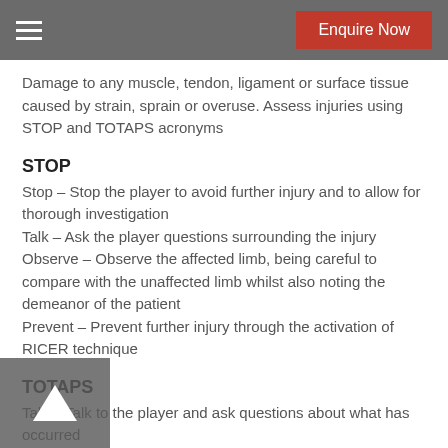Enquire Now
Damage to any muscle, tendon, ligament or surface tissue caused by strain, sprain or overuse. Assess injuries using STOP and TOTAPS acronyms
STOP
Stop – Stop the player to avoid further injury and to allow for thorough investigation
Talk – Ask the player questions surrounding the injury
Observe – Observe the affected limb, being careful to compare with the unaffected limb whilst also noting the demeanor of the patient
Prevent – Prevent further injury through the activation of RICER technique
TOTAPS
Talk – Talk to the player and ask questions about what has occurred
Observe – Observe the site of injury and compare with unaffected limb. Observe the distress level of player